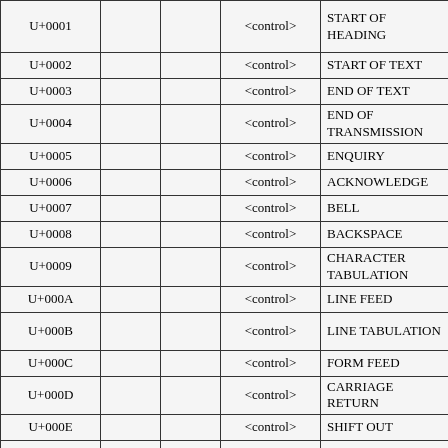| Code |  |  | Name | Description |
| --- | --- | --- | --- | --- |
| U+0001 |  |  | <control> | START OF HEADING |
| U+0002 |  |  | <control> | START OF TEXT |
| U+0003 |  |  | <control> | END OF TEXT |
| U+0004 |  |  | <control> | END OF TRANSMISSION |
| U+0005 |  |  | <control> | ENQUIRY |
| U+0006 |  |  | <control> | ACKNOWLEDGE |
| U+0007 |  |  | <control> | BELL |
| U+0008 |  |  | <control> | BACKSPACE |
| U+0009 |  |  | <control> | CHARACTER TABULATION |
| U+000A |  |  | <control> | LINE FEED |
| U+000B |  |  | <control> | LINE TABULATION |
| U+000C |  |  | <control> | FORM FEED |
| U+000D |  |  | <control> | CARRIAGE RETURN |
| U+000E |  |  | <control> | SHIFT OUT |
| U+000F |  |  | <control> | SHIFT IN |
| U+0010 |  |  | <control> | DATA LINK ESCAPE |
| U+0011 |  |  | <control> | DEVICE CONTROL ONE |